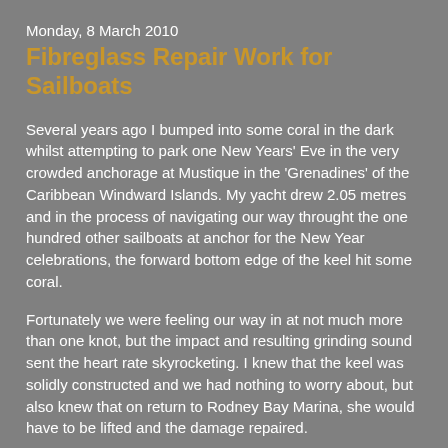Monday, 8 March 2010
Fibreglass Repair Work for Sailboats
Several years ago I bumped into some coral in the dark whilst attempting to park one New Years' Eve in the very crowded anchorage at Mustique in the 'Grenadines' of the Caribbean Windward Islands. My yacht drew 2.05 metres and in the process of navigating our way throught the one hundred other sailboats at anchor for the New Year celebrations, the forward bottom edge of the keel hit some coral.
Fortunately we were feeling our way in at not much more than one knot, but the impact and resulting grinding sound sent the heart rate skyrocketing. I knew that the keel was solidly constructed and we had nothing to worry about, but also knew that on return to Rodney Bay Marina, she would have to be lifted and the damage repaired.
Out of the water we inspected the damage and having time